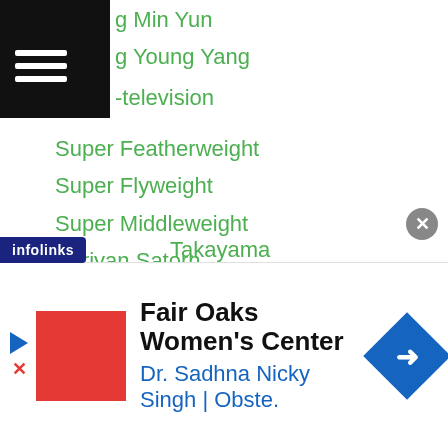g Min Yun
g Young Yang
-television
Super Featherweight
Super Flyweight
Super Middleweight
Suriyan Satorn
Suriyan Sor Rungvisai
Suruga Boy
Suspension
Susumu Hanagata
Sutan Rambing
Suthat Kalalek
Suyon Takayama
Su Yun Hong
Suzuki-yuhei
Takayama
[Figure (screenshot): Advertisement banner for Fair Oaks Women's Center featuring Dr. Sadhna Nicky Singh | Obste.]